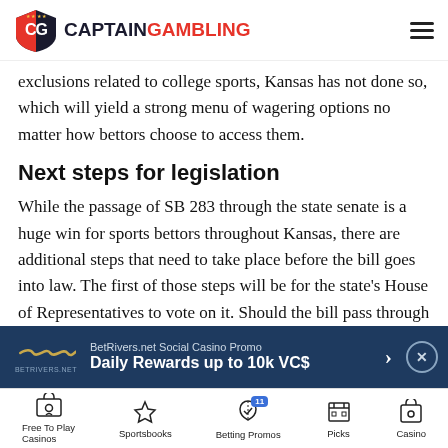CAPTAIN GAMBLING
exclusions related to college sports, Kansas has not done so, which will yield a strong menu of wagering options no matter how bettors choose to access them.
Next steps for legislation
While the passage of SB 283 through the state senate is a huge win for sports bettors throughout Kansas, there are additional steps that need to take place before the bill goes into law. The first of those steps will be for the state's House of Representatives to vote on it. Should the bill pass through the house as well, it will go to the governor, who will sign it into law. Should that happen
[Figure (infographic): BetRivers.net Social Casino Promo banner ad: Daily Rewards up to 10k VC$]
Free To Play Casinos | Sportsbooks | Betting Promos | Picks | Casino